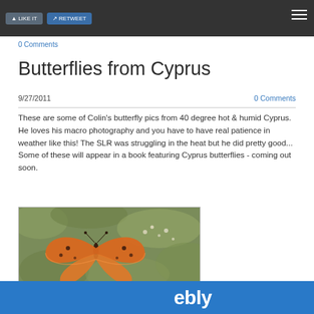0 Comments
Butterflies from Cyprus
9/27/2011
0 Comments
These are some of Colin's butterfly pics from 40 degree hot & humid Cyprus. He loves his macro photography and you have to have real patience in weather like this! The SLR was struggling in the heat but he did pretty good... Some of these will appear in a book featuring Cyprus butterflies - coming out soon.
[Figure (photo): Orange butterfly on blurred floral background, macro photography from Cyprus]
ebly